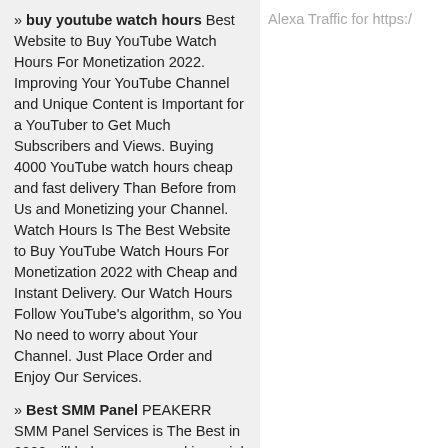» buy youtube watch hours Best Website to Buy YouTube Watch Hours For Monetization 2022. Improving Your YouTube Channel and Unique Content is Important for a YouTuber to Get Much Subscribers and Views. Buying 4000 YouTube watch hours cheap and fast delivery Than Before from Us and Monetizing your Channel. Watch Hours Is The Best Website to Buy YouTube Watch Hours For Monetization 2022 with Cheap and Instant Delivery. Our Watch Hours Follow YouTube's algorithm, so You No need to worry about Your Channel. Just Place Order and Enjoy Our Services.
» Best SMM Panel PEAKERR SMM Panel Services is The Best in 2022 will help you succeed in social media by providing the cheapest Instagram panels, Facebook panels, TikTok...
Alexa Traffic for https://